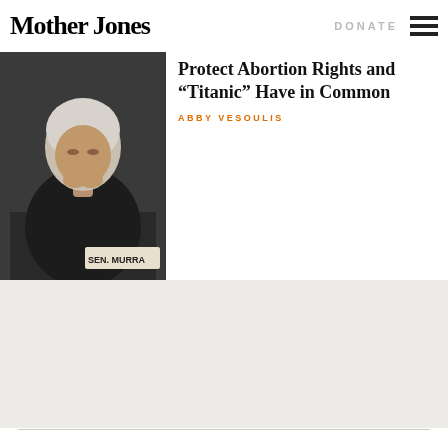Mother Jones
DONATE
[Figure (photo): Photo of a senator with white hair, resting chin on hands, seated at a hearing. A name placard reading SEN. MURRA is partially visible.]
Protect Abortion Rights and “Titanic” Have in Common
ABBY VESOULIS